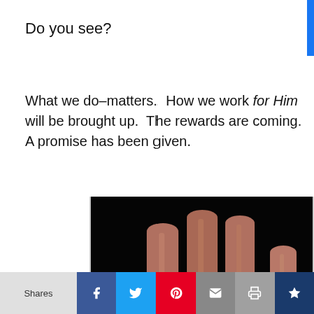Do you see?
What we do–matters.  How we work for Him will be brought up.  The rewards are coming.  A promise has been given.
[Figure (photo): Close-up photograph of four fingers of a human hand against a black background, showing the fingertips of index, middle, ring, and pinky fingers.]
Shares | Facebook | Twitter | Pinterest | Email | Print | Crown